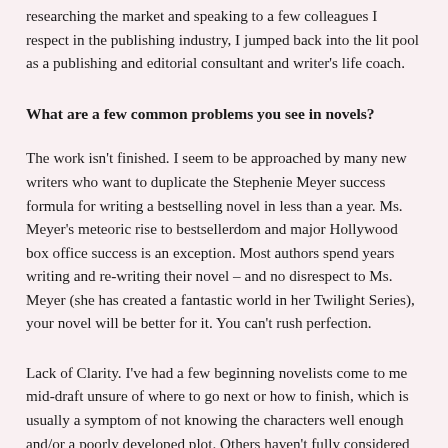researching the market and speaking to a few colleagues I respect in the publishing industry, I jumped back into the lit pool as a publishing and editorial consultant and writer’s life coach.
What are a few common problems you see in novels?
The work isn’t finished. I seem to be approached by many new writers who want to duplicate the Stephenie Meyer success formula for writing a bestselling novel in less than a year. Ms. Meyer’s meteoric rise to bestsellerdom and major Hollywood box office success is an exception. Most authors spend years writing and re-writing their novel – and no disrespect to Ms. Meyer (she has created a fantastic world in her Twilight Series), your novel will be better for it. You can’t rush perfection.
Lack of Clarity. I’ve had a few beginning novelists come to me mid-draft unsure of where to go next or how to finish, which is usually a symptom of not knowing the characters well enough and/or a poorly developed plot. Others haven’t fully considered the